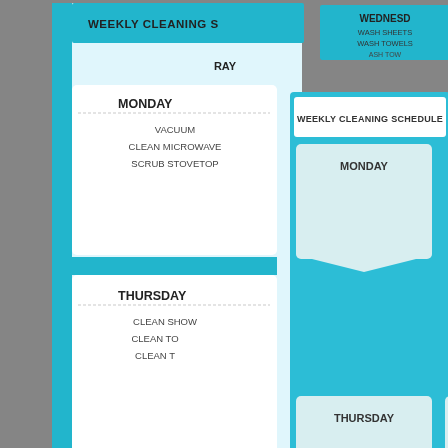[Figure (photo): A photograph showing two printed weekly cleaning schedule sheets laid on a textured grey/dark surface. The front sheet shows a teal/cyan colored 'WEEKLY CLEANING SCHEDULE' with columns for MONDAY, TUESDAY, WEDNESDAY (top row) and THURSDAY, FRIDAY, SATURDAY (bottom row), each with a white pennant-shaped box below the day name. A partially visible second sheet behind and to the left shows sections for MONDAY (with tasks: VACUUM, CLEAN MICROWAVE, SCRUB STOVETOP) and THURSDAY (with tasks: CLEAN SHOWER, CLEAN TOILET, CLEAN TOILET partially visible), and a top section showing WEDNESDAY with WASH SHEETS, WASH TOWELS. A small circular teal logo/watermark appears in the bottom right corner of the front sheet.]